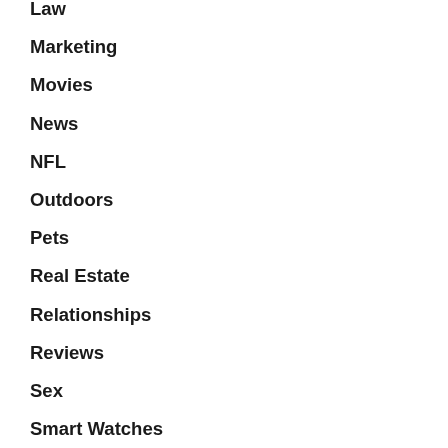Law
Marketing
Movies
News
NFL
Outdoors
Pets
Real Estate
Relationships
Reviews
Sex
Smart Watches
Social Media
Sports
Tarot Cards
Tech